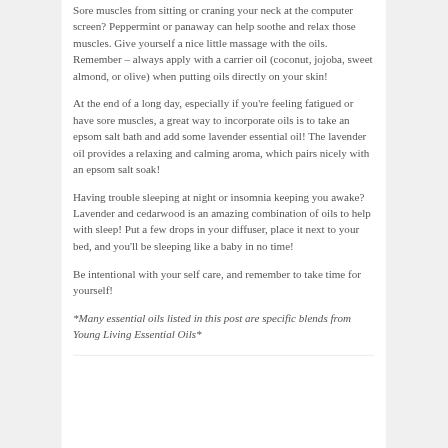Sore muscles from sitting or craning your neck at the computer screen? Peppermint or panaway can help soothe and relax those muscles. Give yourself a nice little massage with the oils. Remember – always apply with a carrier oil (coconut, jojoba, sweet almond, or olive) when putting oils directly on your skin!
At the end of a long day, especially if you're feeling fatigued or have sore muscles, a great way to incorporate oils is to take an epsom salt bath and add some lavender essential oil! The lavender oil provides a relaxing and calming aroma, which pairs nicely with an epsom salt soak!
Having trouble sleeping at night or insomnia keeping you awake? Lavender and cedarwood is an amazing combination of oils to help with sleep! Put a few drops in your diffuser, place it next to your bed, and you'll be sleeping like a baby in no time!
Be intentional with your self care, and remember to take time for yourself!
*Many essential oils listed in this post are specific blends from Young Living Essential Oils*